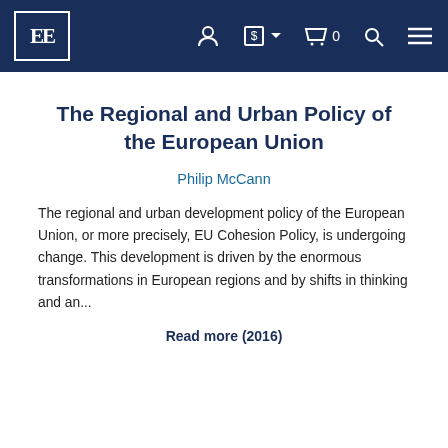EE [logo navbar with icons]
The Regional and Urban Policy of the European Union
Philip McCann
The regional and urban development policy of the European Union, or more precisely, EU Cohesion Policy, is undergoing change. This development is driven by the enormous transformations in European regions and by shifts in thinking and an...
Read more (2016)